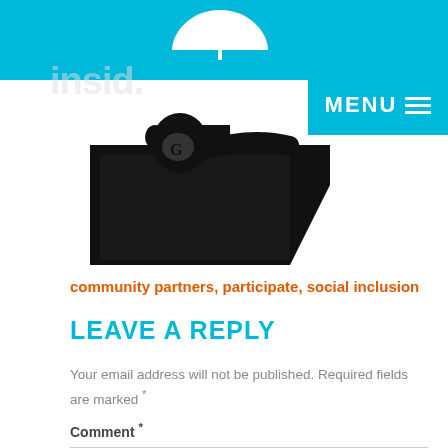[Figure (logo): Website header with cyan/turquoise background bar at top, containing a white umbrella icon and partial site logo text. Below is a black folder icon with a gorilla/animal figure on it.]
[Figure (other): MENU button with three horizontal lines (hamburger menu) on cyan background, top right]
community partners, participate, social inclusion
LEAVE A REPLY
Your email address will not be published. Required fields are marked *
Comment *